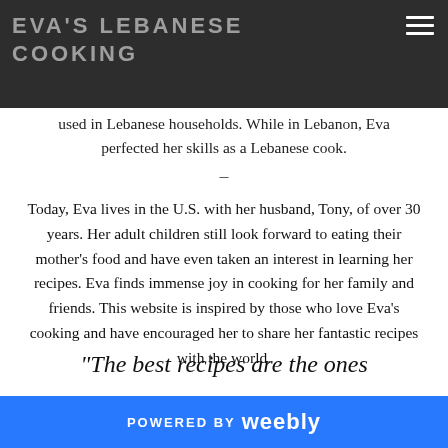EVA'S LEBANESE COOKING
used in Lebanese households. While in Lebanon, Eva perfected her skills as a Lebanese cook.
Today, Eva lives in the U.S. with her husband, Tony, of over 30 years. Her adult children still look forward to eating their mother's food and have even taken an interest in learning her recipes. Eva finds immense joy in cooking for her family and friends. This website is inspired by those who love Eva's cooking and have encouraged her to share her fantastic recipes with the world.
"The best recipes are the ones
POWERED BY weebly